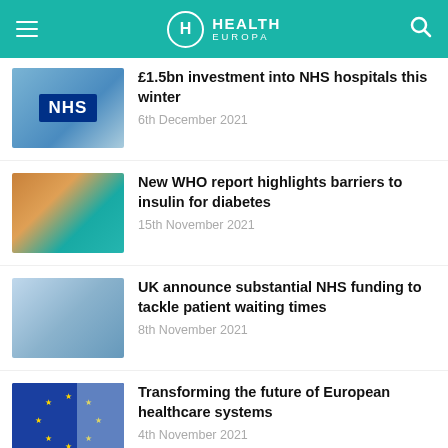Health Europa
£1.5bn investment into NHS hospitals this winter
6th December 2021
New WHO report highlights barriers to insulin for diabetes
15th November 2021
UK announce substantial NHS funding to tackle patient waiting times
8th November 2021
Transforming the future of European healthcare systems
4th November 2021
Preventing future pandemics requires UK healthcare leadership...